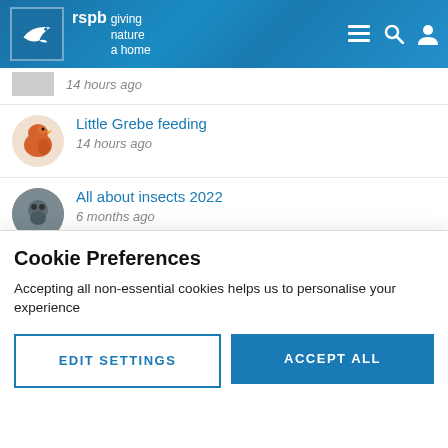[Figure (screenshot): RSPB website header with logo (bird icon, 'rspb giving nature a home'), navigation icons (hamburger menu, search, user) on blue textured background]
14 hours ago
Little Grebe feeding
14 hours ago
All about insects 2022
6 months ago
Leighton Moss official sighting !
2 days ago
Cookie Preferences
Accepting all non-essential cookies helps us to personalise your experience